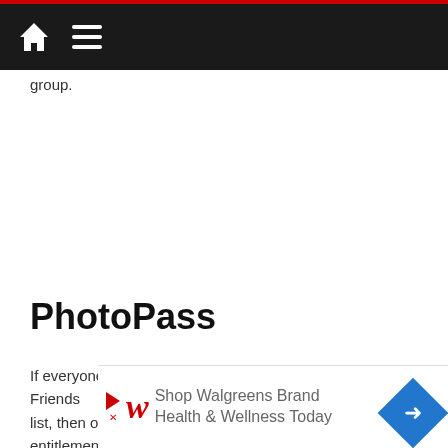Navigation bar with home and menu icons
group.
PhotoPass
If everyone in your group is linked on your Family and Friends list, then only one… entitlement. This…
[Figure (screenshot): Walgreens advertisement banner: Shop Walgreens Brand Health & Wellness Today]